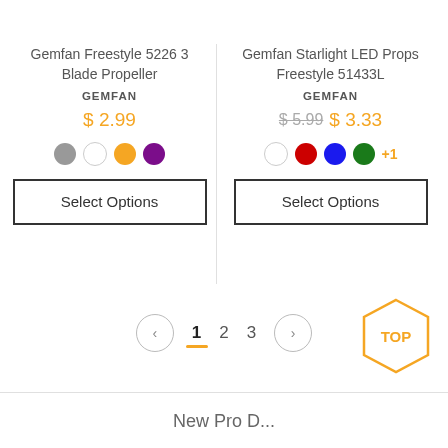Gemfan Freestyle 5226 3 Blade Propeller
GEMFAN
$ 2.99
Select Options
Gemfan Starlight LED Props Freestyle 51433L
GEMFAN
$ 5.99  $ 3.33
+1
Select Options
1  2  3